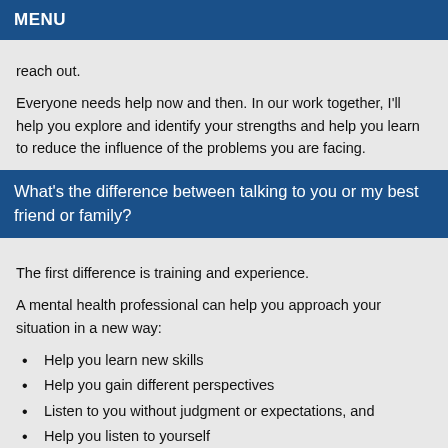MENU
reach out.
Everyone needs help now and then. In our work together, I'll help you explore and identify your strengths and help you learn to reduce the influence of the problems you are facing.
What's the difference between talking to you or my best friend or family?
The first difference is training and experience.
A mental health professional can help you approach your situation in a new way:
Help you learn new skills
Help you gain different perspectives
Listen to you without judgment or expectations, and
Help you listen to yourself